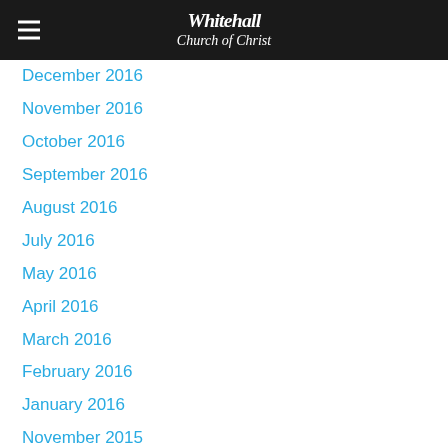Whitehall Church of Christ
December 2016
November 2016
October 2016
September 2016
August 2016
July 2016
May 2016
April 2016
March 2016
February 2016
January 2016
November 2015
October 2015
September 2015
August 2015
July 2015
June 2015
May 2015